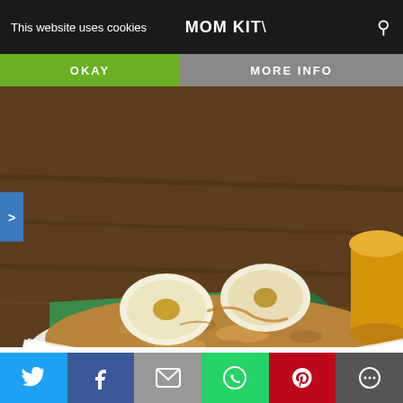This website uses cookies | MOM KITCHEN
OKAY
MORE INFO
[Figure (photo): A white bowl of oatmeal topped with sliced bananas, with a yellow bowl in the background on a wood surface with a green napkin.]
>
Here is what you you need to
make the
Social share buttons: Twitter, Facebook, Email, WhatsApp, Pinterest, More